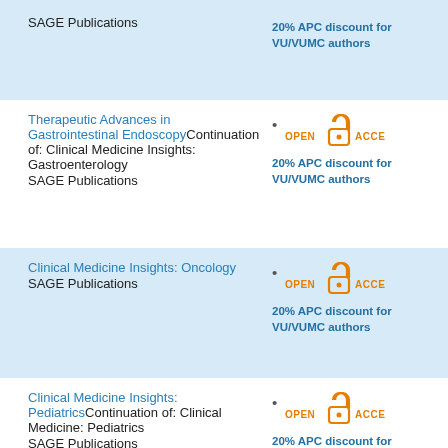SAGE Publications · 20% APC discount for VU/VUMC authors
Therapeutic Advances in Gastrointestinal Endoscopy – Continuation of: Clinical Medicine Insights: Gastroenterology · SAGE Publications · 20% APC discount for VU/VUMC authors
Clinical Medicine Insights: Oncology · SAGE Publications · 20% APC discount for VU/VUMC authors
Clinical Medicine Insights: Pediatrics – Continuation of: Clinical Medicine: Pediatrics · SAGE Publications · 20% APC discount for VU/VUMC authors
Clinical Medicine Insights: Psychiatry · 20% APC discount for VU/VUMC authors